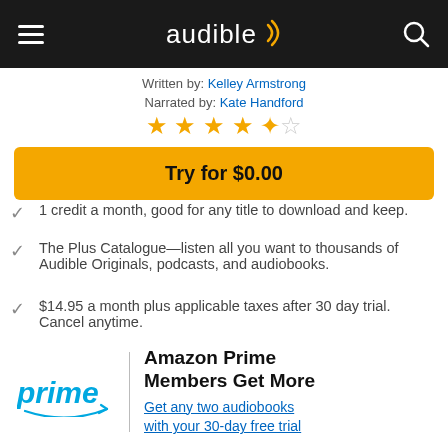Audible app header with hamburger menu, Audible logo, and search icon
Written by: Kelley Armstrong
Narrated by: Kate Handford
[Figure (other): 4.5 star rating displayed with 4 filled stars and 1 half star]
Try for $0.00
1 credit a month, good for any title to download and keep.
The Plus Catalogue—listen all you want to thousands of Audible Originals, podcasts, and audiobooks.
$14.95 a month plus applicable taxes after 30 day trial. Cancel anytime.
[Figure (logo): Amazon Prime logo in blue]
Amazon Prime Members Get More
Get any two audiobooks with your 30-day free trial